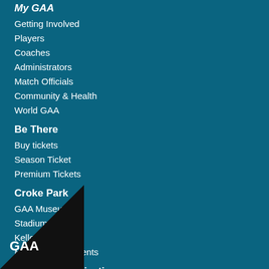My GAA
Getting Involved
Players
Coaches
Administrators
Match Officials
Community & Health
World GAA
Be There
Buy tickets
Season Ticket
Premium Tickets
Croke Park
GAA Museum
Stadium Tour
Kellogg's Skyline
Meetings and Events
Related Organisations
GFA
ogie
ll